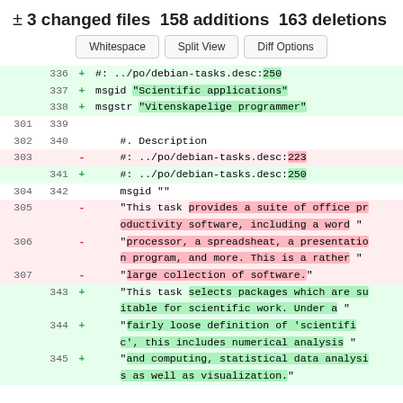± 3 changed files 158 additions 163 deletions
[Figure (screenshot): Git diff view with Whitespace, Split View, Diff Options buttons and diff lines 301-345]
| old | new | sign | content |
| --- | --- | --- | --- |
|  | 336 | + | #: ../po/debian-tasks.desc:250 |
|  | 337 | + | msgid "Scientific applications" |
|  | 338 | + | msgstr "Vitenskapelige programmer" |
| 301 | 339 |  |  |
| 302 | 340 |  | #. Description |
| 303 |  | - | #: ../po/debian-tasks.desc:223 |
|  | 341 | + | #: ../po/debian-tasks.desc:250 |
| 304 | 342 |  | msgid "" |
| 305 |  | - | "This task provides a suite of office pr oductivity software, including a word " |
| 306 |  | - | "processor, a spreadsheat, a presentatio n program, and more. This is a rather " |
| 307 |  | - | "large collection of software." |
|  | 343 | + | "This task selects packages which are su itable for scientific work. Under a " |
|  | 344 | + | "fairly loose definition of 'scientifi c', this includes numerical analysis " |
|  | 345 | + | "and computing, statistical data analysi s as well as visualization." |